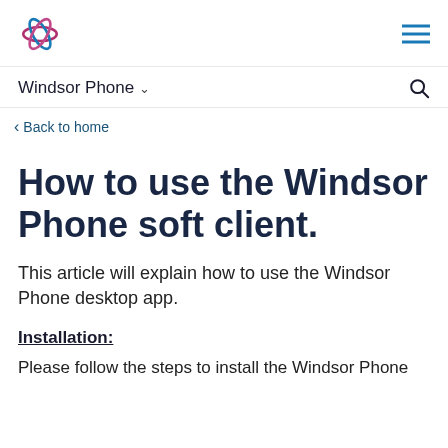Windsor Phone logo and hamburger menu
Windsor Phone ∨
‹ Back to home
How to use the Windsor Phone soft client.
This article will explain how to use the Windsor Phone desktop app.
Installation:
Please follow the steps to install the Windsor Phone